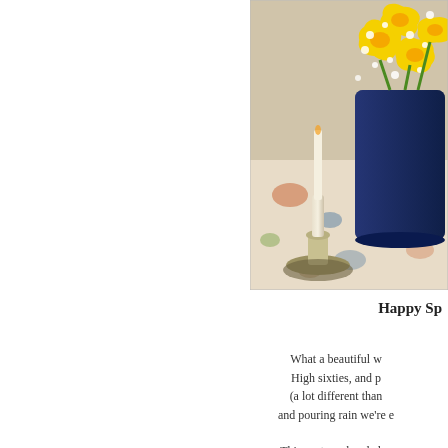[Figure (photo): Photo of a table scene with yellow daffodils and white baby's breath flowers in a dark blue tin watering can, a white taper candle in a silver candlestick holder, and a floral tablecloth in the background.]
Happy Sp
What a beautiful w High sixties, and p (a lot different than and pouring rain we're e
This past weekend also of my Spring Bre